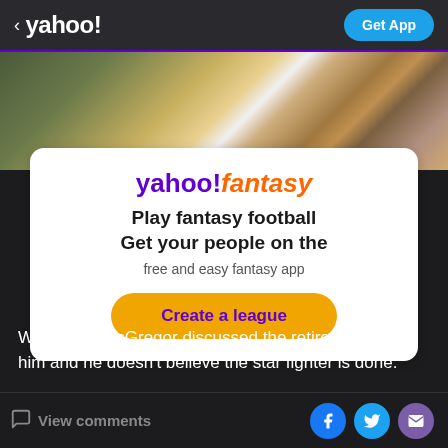< yahoo!  Get App
[Figure (photo): Partial photo of a person in a white outfit with a gold chain necklace, with greenery/plants and a building in the background]
[Figure (infographic): Yahoo Fantasy advertisement card with logo, text 'Play fantasy football Get your people on the free and easy fantasy app' and a 'Create a league' button]
White said McGregor discussed the retirement with him and he doesn't believe the star fighter is done.
View comments  [Facebook] [Twitter] [Email]